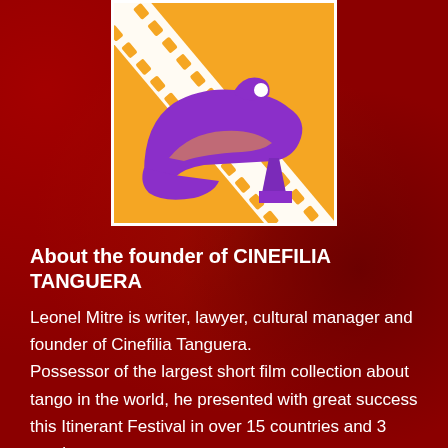[Figure (logo): Orange square logo with a purple women's heel shoe overlaid with a diagonal film strip in white/orange, representing Cinefilia Tanguera]
About the founder of CINEFILIA TANGUERA
Leonel Mitre is writer, lawyer, cultural manager and founder of Cinefilia Tanguera. Possessor of the largest short film collection about tango in the world, he presented with great success this Itinerant Festival in over 15 countries and 3 continents. As a writer he won several awards for the story